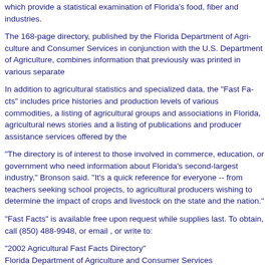which provide a statistical examination of Florida's food, fiber and industries.
The 168-page directory, published by the Florida Department of Agriculture and Consumer Services in conjunction with the U.S. Department of Agriculture, combines information that previously was printed in various separate
In addition to agricultural statistics and specialized data, the "Fast Facts" includes price histories and production levels of various commodities, a listing of agricultural groups and associations in Florida, agricultural news stories and a listing of publications and producer assistance services offered by the
"The directory is of interest to those involved in commerce, education, or government who need information about Florida's second-largest industry," Bronson said. "It's a quick reference for everyone -- from teachers seeking school projects, to agricultural producers wishing to determine the impact of crops and livestock on the state and the nation."
"Fast Facts" is available free upon request while supplies last. To obtain, call (850) 488-9948, or email , or write to:
"2002 Agricultural Fast Facts Directory"
Florida Department of Agriculture and Consumer Services
Mayo Building, Room 435
407 Calhoun Street
Tallahassee, FL 32399-0800